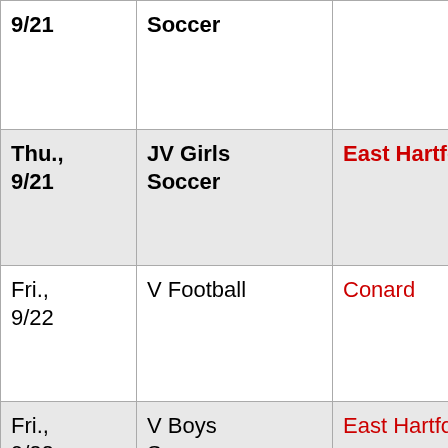| Date | Event | Opponent |
| --- | --- | --- |
| 9/21 | Soccer |  |
| Thu., 9/21 | JV Girls Soccer | East Hartford |
| Fri., 9/22 | V Football | Conard |
| Fri., 9/22 | V Boys Soccer | East Hartford |
| Fri., 9/22 | JV Boys Soccer | East Hartford |
| Fri. | V Field | Southington |